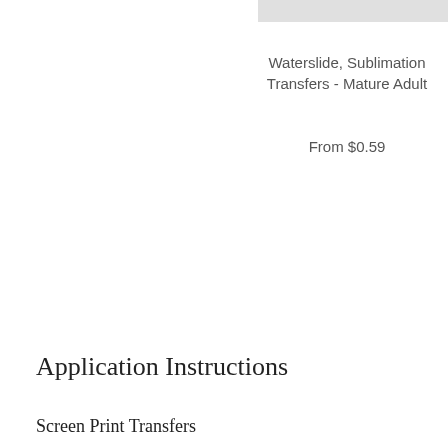[Figure (other): Partial product image visible at top right, light gray/white background rectangle]
Waterslide, Sublimation Transfers - Mature Adult
From $0.59
Application Instructions
Screen Print Transfers